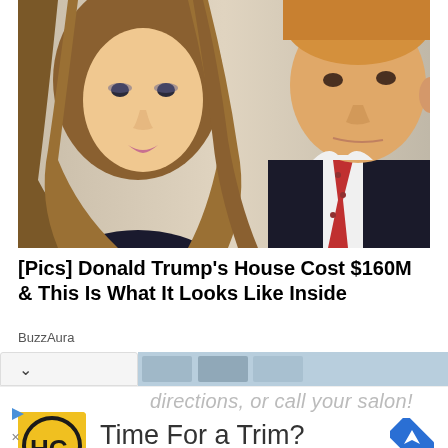[Figure (photo): Photo of two people side by side — a woman with long blonde hair on the left and a man with orange-blonde hair on the right, both looking toward the camera]
[Pics] Donald Trump's House Cost $160M & This Is What It Looks Like Inside
BuzzAura
directions, or call your salon!
[Figure (logo): HC logo in black on yellow square background — Hair Cuttery or similar salon brand]
Time For a Trim?